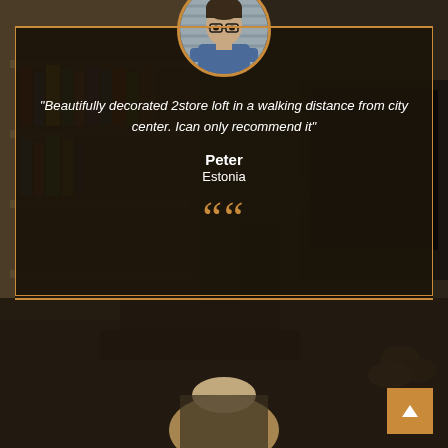[Figure (photo): A testimonial card overlaid on a dark photo of a living room interior with bookshelves. A circular avatar photo of a young man with glasses and blue shirt appears at the top. Below is a quote, name 'Peter', country 'Estonia', and large orange quotation mark icons. At the bottom, the start of another testimonial section is visible with a partially visible blonde woman.]
"Beautifully decorated 2store loft in a walking distance from city center. Ican only recommend it"
Peter
Estonia